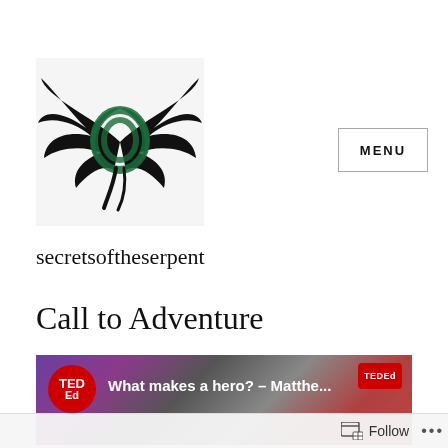[Figure (logo): Secretsoftheserpent blog logo: black dragon/serpent wings with a green Celtic triple knot in the center, on a white/light background]
MENU
secretsoftheserpent
Call to Adventure
[Figure (screenshot): TED-Ed YouTube video thumbnail showing 'What makes a hero? - Matthe...' with TED Ed logo badge, dark purple and red dramatic illustration background]
Follow ...